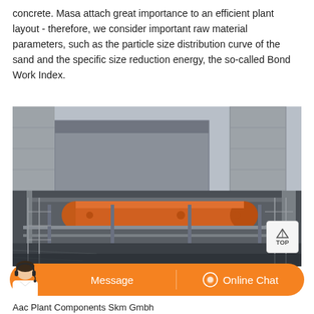concrete. Masa attach great importance to an efficient plant layout - therefore, we consider important raw material parameters, such as the particle size distribution curve of the sand and the specific size reduction energy, the so-called Bond Work Index.
[Figure (photo): Aerial/overhead photo of an industrial plant construction site showing a large orange cylindrical ball mill or grinding drum being installed in a concrete pit, with industrial buildings and silos in the background. Construction scaffolding and equipment visible.]
Message   Online Chat
Aac Plant Components Skm Gmbh